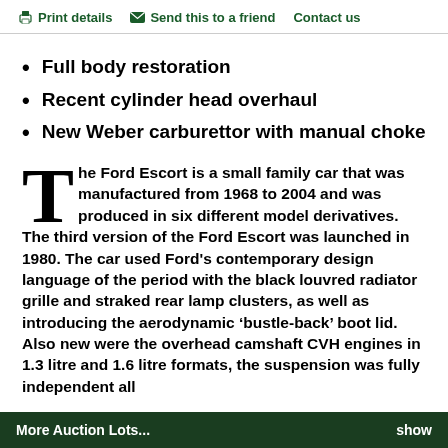Print details   Send this to a friend   Contact us
Full body restoration
Recent cylinder head overhaul
New Weber carburettor with manual choke
The Ford Escort is a small family car that was manufactured from 1968 to 2004 and was produced in six different model derivatives. The third version of the Ford Escort was launched in 1980. The car used Ford's contemporary design language of the period with the black louvred radiator grille and straked rear lamp clusters, as well as introducing the aerodynamic ‘bustle-back’ boot lid. Also new were the overhead camshaft CVH engines in 1.3 litre and 1.6 litre formats, the suspension was fully independent all
More Auction Lots...   show